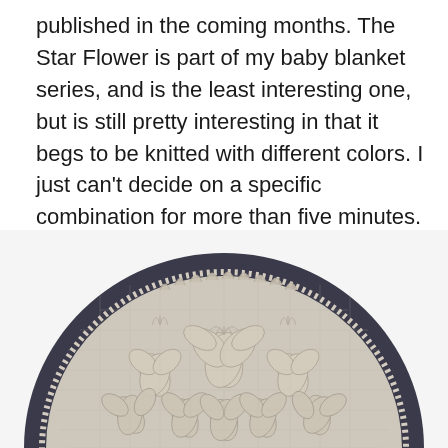published in the coming months. The Star Flower is part of my baby blanket series, and is the least interesting one, but is still pretty interesting in that it begs to be knitted with different colors. I just can't decide on a specific combination for more than five minutes. I did not include instructions for borders worked in i-cord or picot hem bind off. However, am sure there are plenty of resources on the interweb.
[Figure (photo): A circular knitted lace piece (Star Flower baby blanket) displayed on a dark background. The white lace shows intricate star flower and leaf patterns arranged in a circular design with a decorative picot edge around the circumference.]